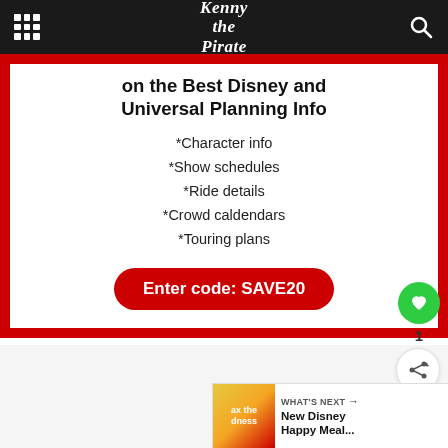Kenny the Pirate
on the Best Disney and Universal Planning Info
*Character info
*Show schedules
*Ride details
*Crowd caldendars
*Touring plans
Enter code: SAVE20
1
WHAT'S NEXT → New Disney Happy Meal...